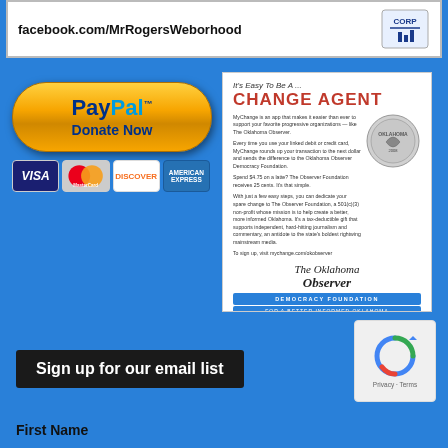facebook.com/MrRogersWeborhood
[Figure (logo): CORP logo on top banner]
[Figure (infographic): PayPal Donate Now button with Visa, MasterCard, Discover, American Express card logos]
[Figure (infographic): Change Agent advertisement flyer for Oklahoma Observer Democracy Foundation showing coin graphic and donation text]
Sign up for our email list
[Figure (other): reCAPTCHA widget showing Privacy and Terms]
First Name